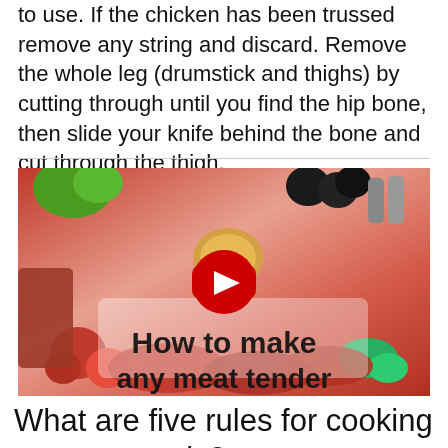to use. If the chicken has been trussed remove any string and discard. Remove the whole leg (drumstick and thighs) by cutting through until you find the hip bone, then slide your knife behind the bone and cut through the thigh.
[Figure (screenshot): YouTube video thumbnail showing various raw meats and vegetables with the title 'How to make any meat tender' overlaid, and a red YouTube play button in the center.]
What are five rules for cooking meat correctly?